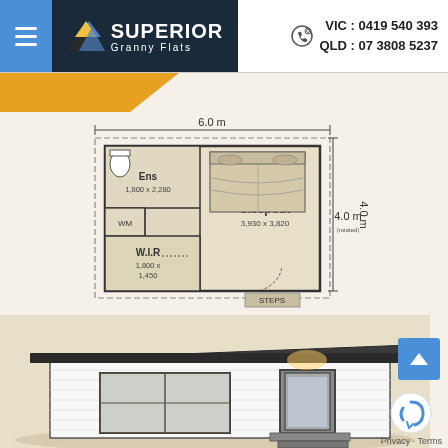Superior Granny Flats — VIC: 0419 540 393 — QLD: 07 3808 5237
[Figure (engineering-diagram): Floor plan of a granny flat sleepout. Dimensions: 6.0m wide x 4.0m deep. Rooms: Ensuite (1,800 x 2,280), WM (washer), W.I.R (1,800 x 1,450), Sleepout (3,930 x 3,820). Entry via STEPS at bottom.]
[Figure (photo): 3D rendered exterior photo of a single-storey granny flat with dark grey skillion roof, white horizontal cladding, large window and glass panel door, with external steps leading to entry.]
Privacy · Terms